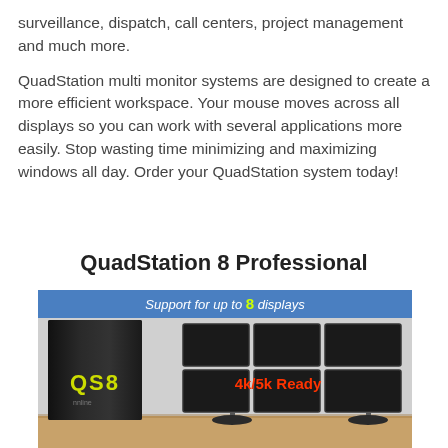surveillance, dispatch, call centers, project management and much more.
QuadStation multi monitor systems are designed to create a more efficient workspace. Your mouse moves across all displays so you can work with several applications more easily. Stop wasting time minimizing and maximizing windows all day. Order your QuadStation system today!
QuadStation 8 Professional
[Figure (photo): Photo of QuadStation 8 Professional computer tower with QS8 label and array of 6 monitors labeled 4k/5k Ready, with banner at top reading 'Support for up to 8 displays']